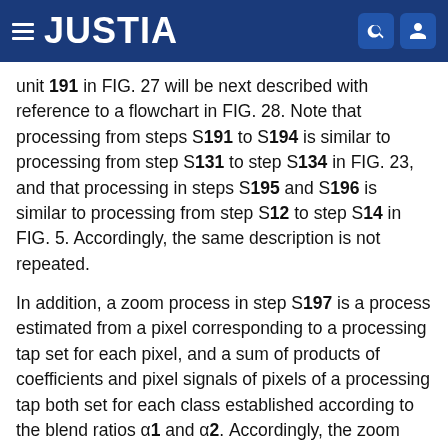JUSTIA
unit 191 in FIG. 27 will be next described with reference to a flowchart in FIG. 28. Note that processing from steps S191 to S194 is similar to processing from step S131 to step S134 in FIG. 23, and that processing in steps S195 and S196 is similar to processing from step S12 to step S14 in FIG. 5. Accordingly, the same description is not repeated.
In addition, a zoom process in step S197 is a process estimated from a pixel corresponding to a processing tap set for each pixel, and a sum of products of coefficients and pixel signals of pixels of a processing tap both set for each class established according to the blend ratios α1 and α2. Accordingly, the zoom process in step S197 is substantially similar to the zoom process in FIG. 18, wherefore the same description of this process is not repeated.